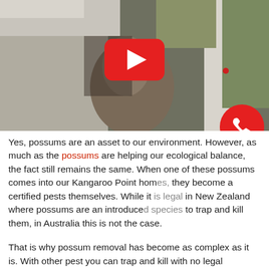[Figure (screenshot): A YouTube video thumbnail showing a possum climbing near a wall and a white pillar. The YouTube play button (red rounded rectangle with white triangle) is overlaid in the center of the image.]
Yes, possums are an asset to our environment. However, as much as the possums are helping our ecological balance, the fact still remains the same. When one of these possums comes into our Kangaroo Point homes, they become a certified pests themselves. While it is legal in New Zealand where possums are an introduced species to trap and kill them, in Australia this is not the case.
That is why possum removal has become as complex as it is. With other pest you can trap and kill with no legal